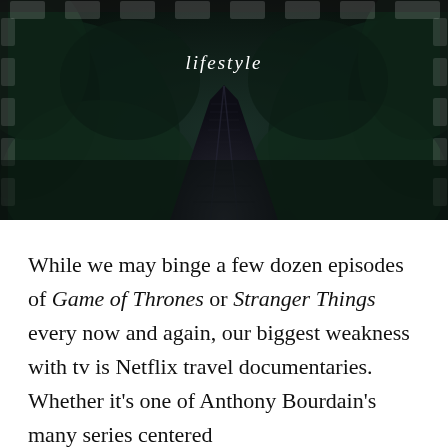[Figure (photo): Dark atmospheric photo of a wooden walkway or bridge receding into the distance, flanked by dark green forest foliage. Decorative film-strip notches visible along the top and sides of the image frame.]
lifestyle
While we may binge a few dozen episodes of Game of Thrones or Stranger Things every now and again, our biggest weakness with tv is Netflix travel documentaries. Whether it's one of Anthony Bourdain's many series centered